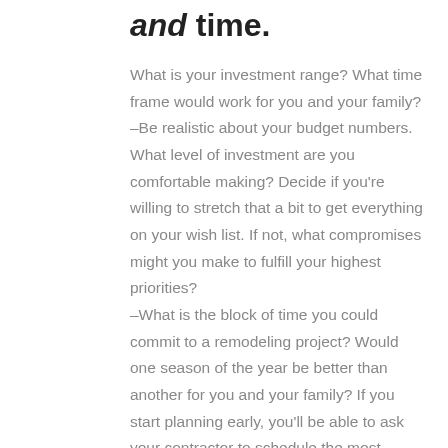and time.
What is your investment range? What time frame would work for you and your family? –Be realistic about your budget numbers. What level of investment are you comfortable making? Decide if you're willing to stretch that a bit to get everything on your wish list. If not, what compromises might you make to fulfill your highest priorities? –What is the block of time you could commit to a remodeling project? Would one season of the year be better than another for you and your family? If you start planning early, you'll be able to ask your contractor to schedule the most convenient time frame.